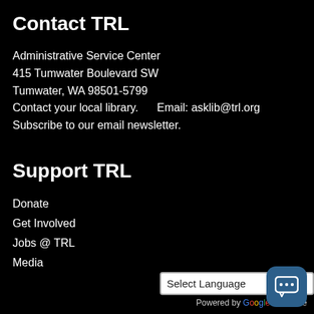Contact TRL
Administrative Service Center
415 Tumwater Boulevard SW
Tumwater, WA 98501-5799
Contact your local library.      Email: asklib@trl.org
Subscribe to our email newsletter.
Support TRL
Donate
Get Involved
Jobs @ TRL
Media
[Figure (screenshot): Select Language dropdown widget and Powered by Google Translate text with chat bubble icon in bottom right corner]